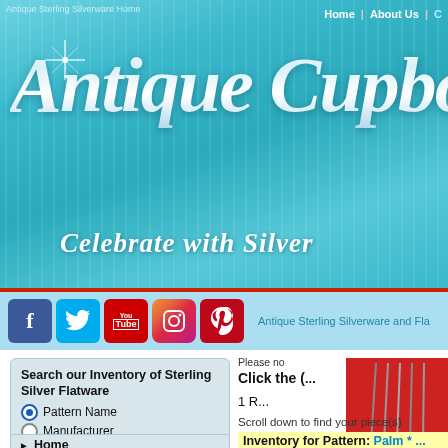Antique Sterling Silverware Home
[Figure (screenshot): Antique Cupboard website header with teal background, large silver italic script logo text 'Antique Cupbo...' and tagline 'Celebrate with Silver']
[Figure (infographic): Social media icons row: Facebook, Twitter, YouTube, Instagram, Pinterest followed by text 'Antique Sterling Silverware and Fla...']
Search our Inventory of Sterling Silver Flatware
Pattern Name (selected)
Manufacturer
Piece Type
Search for:
Hint: type in just a few letters for best results.
Global Site Search:
Please no...
Click the (...
1 R...
Scroll down to find your piece(s)
Inventory for Pattern: Palm * ...
Piece